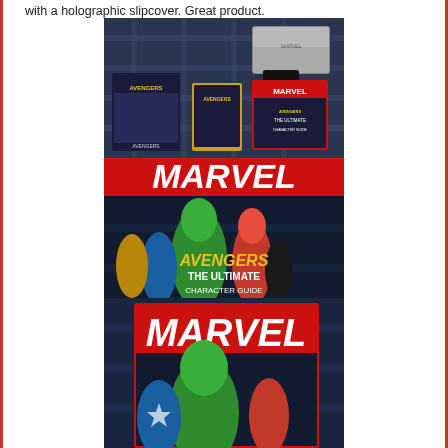with a holographic slipcover. Great product.
[Figure (photo): Three stacked photos showing Marvel Avengers merchandise: top photo shows a collection including DVD/bluray case, card set, and Marvel Avengers Ultimate Character Guide book laid out on a plaid surface; middle photo is a close-up of the Marvel Avengers - The Ultimate Character Guide book cover featuring Hulk, Iron Man, Captain America, Black Widow, and other Avengers; bottom photo shows another view of the Marvel book cover with Hulk prominently featured.]